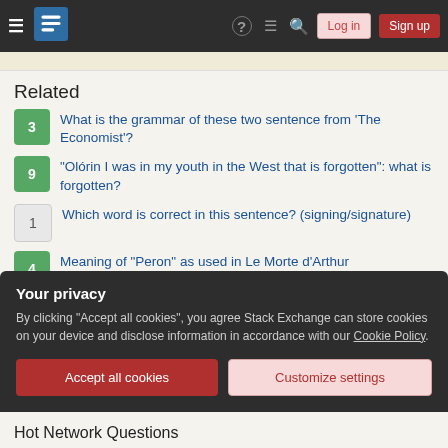Stack Exchange navigation bar with Log in and Sign up buttons
Related
3 — What is the grammar of these two sentence from 'The Economist'?
9 — "Olórin I was in my youth in the West that is forgotten": what is forgotten?
1 — Which word is correct in this sentence? (signing/signature)
4 — Meaning of "Peron" as used in Le Morte d'Arthur
3 — What does `who is but the form following the function of what`
Your privacy
By clicking "Accept all cookies", you agree Stack Exchange can store cookies on your device and disclose information in accordance with our Cookie Policy.
Hot Network Questions